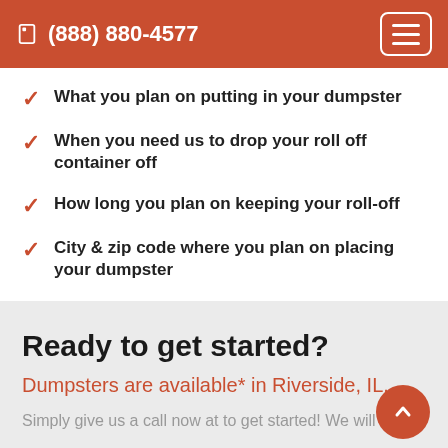(888) 880-4577
What you plan on putting in your dumpster
When you need us to drop your roll off container off
How long you plan on keeping your roll-off
City & zip code where you plan on placing your dumpster
Ready to get started?
Dumpsters are available* in Riverside, IL.
Simply give us a call now at to get started! We will help